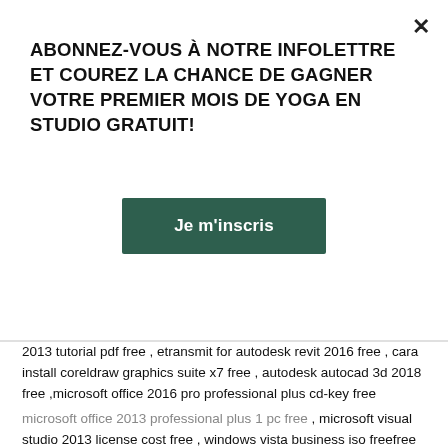ABONNEZ-VOUS À NOTRE INFOLETTRE ET COUREZ LA CHANCE DE GAGNER VOTRE PREMIER MOIS DE YOGA EN STUDIO GRATUIT!
Je m'inscris
2013 tutorial pdf free , etransmit for autodesk revit 2016 free , cara install coreldraw graphics suite x7 free , autodesk autocad 3d 2018 free ,microsoft office 2016 pro professional plus cd-key free
microsoft office 2013 professional plus 1 pc free , microsoft visual studio 2013 license cost free , windows vista business iso freefree
, microsoft windows 10 enterprise 2016 ltsb free , 7 zip windows 7 64 bit free free ,pdf experte professional 11 pearl free
sony vegas pro 13 fonts not working free , windows 10 3d viewer uninstall free , microsoft office 2010 setup for windows 7 free , microsoft office professional plus 2010 64 bit free free , windows